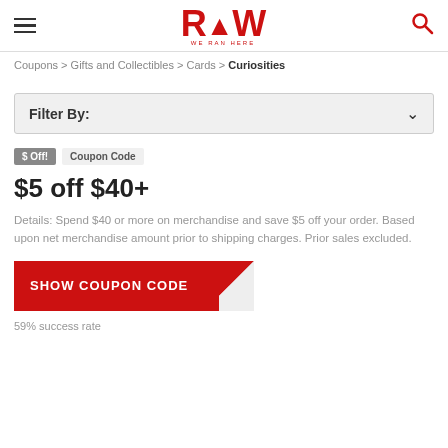RAW
Coupons > Gifts and Collectibles > Cards > Curiosities
Filter By:
$ Off!  Coupon Code
$5 off $40+
Details: Spend $40 or more on merchandise and save $5 off your order. Based upon net merchandise amount prior to shipping charges. Prior sales excluded.
SHOW COUPON CODE
59% success rate